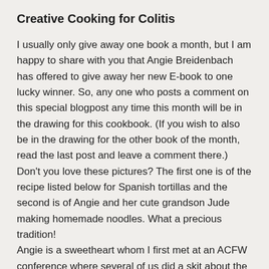Creative Cooking for Colitis
I usually only give away one book a month, but I am happy to share with you that Angie Breidenbach has offered to give away her new E-book to one lucky winner. So, any one who posts a comment on this special blogpost any time this month will be in the drawing for this cookbook. (If you wish to also be in the drawing for the other book of the month, read the last post and leave a comment there.) Don't you love these pictures? The first one is of the recipe listed below for Spanish tortillas and the second is of Angie and her cute grandson Jude making homemade noodles. What a precious tradition! Angie is a sweetheart whom I first met at an ACFW conference where several of us did a skit about the ACFW board. I played Gail Gaymer Martin and Angie played...